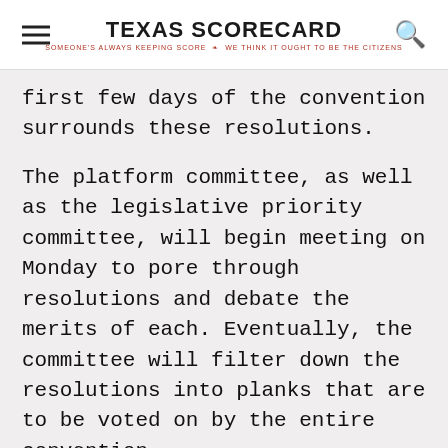TEXAS SCORECARD — SOMEONE'S ALWAYS KEEPING SCORE. WE THINK IT OUGHT TO BE THE CITIZENS.
first few days of the convention surrounds these resolutions.
The platform committee, as well as the legislative priority committee, will begin meeting on Monday to pore through resolutions and debate the merits of each. Eventually, the committee will filter down the resolutions into planks that are to be voted on by the entire convention